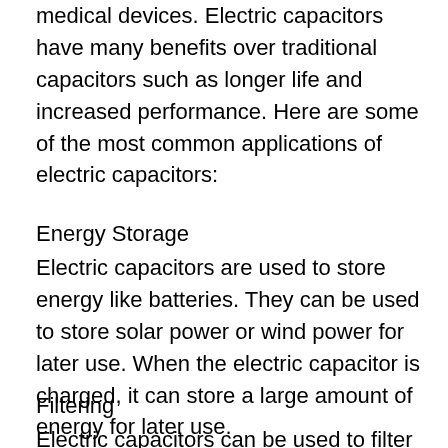medical devices. Electric capacitors have many benefits over traditional capacitors such as longer life and increased performance. Here are some of the most common applications of electric capacitors:
Energy Storage
Electric capacitors are used to store energy like batteries. They can be used to store solar power or wind power for later use. When the electric capacitor is charged, it can store a large amount of energy for later use.
Filtering
Electric capacitors can be used to filter noise or unwanted signals from electronic devices. They can be used in audio equipment, video